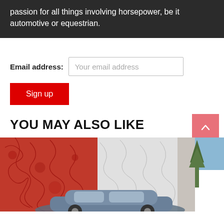passion for all things involving horsepower, be it automotive or equestrian.
Email address: Your email address
Sign up
YOU MAY ALSO LIKE
[Figure (photo): A car parked in front of a building with a red and white mural with swirling patterns, trees visible on the right, blue sky above.]